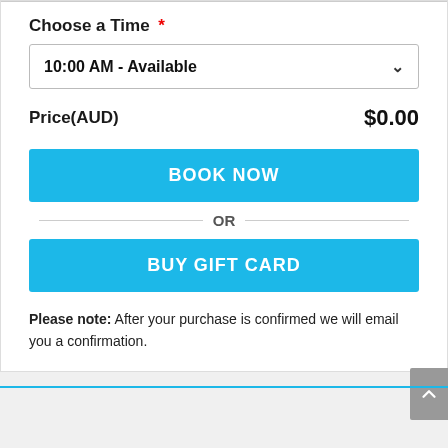Choose a Time *
10:00 AM - Available
Price(AUD)    $0.00
BOOK NOW
OR
BUY GIFT CARD
Please note: After your purchase is confirmed we will email you a confirmation.